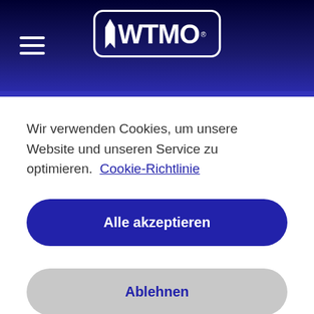[Figure (logo): WTMO logo in white on dark navy blue header background with hamburger menu icon on the left]
Wir verwenden Cookies, um unsere Website und unseren Service zu optimieren. Cookie-Richtlinie
Alle akzeptieren
Ablehnen
Einstellungen
RFx-Optimierung